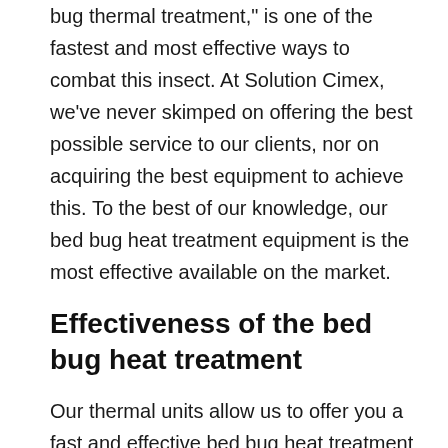The bed bug heat treatment, also known as the "bed bug thermal treatment," is one of the fastest and most effective ways to combat this insect. At Solution Cimex, we've never skimped on offering the best possible service to our clients, nor on acquiring the best equipment to achieve this. To the best of our knowledge, our bed bug heat treatment equipment is the most effective available on the market.
Effectiveness of the bed bug heat treatment
Our thermal units allow us to offer you a fast and effective bed bug heat treatment that can treat an entire apartment, a whole house, several apartments simultaneously, several hotel rooms